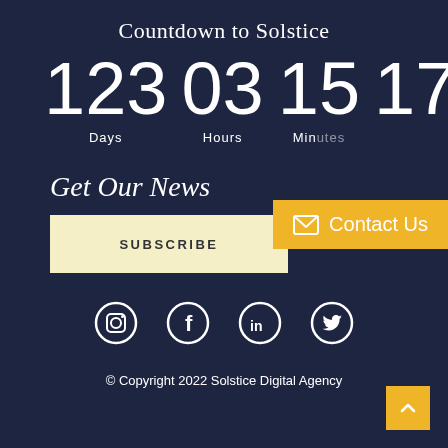Countdown to Solstice
123 Days  03 Hours  15 Minutes  17 Seconds
Contact Us
Get Our News
SUBSCRIBE
[Figure (infographic): Social media icons: Instagram, Facebook, LinkedIn, Twitter]
© Copyright 2022 Solstice Digital Agency